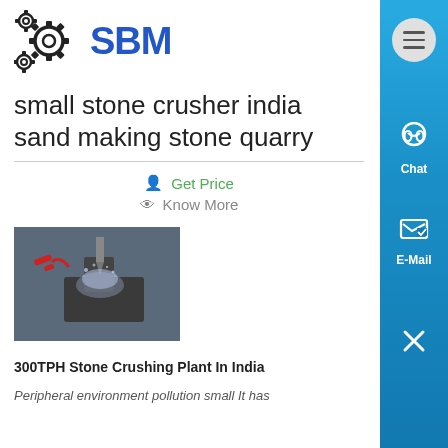[Figure (logo): SBM company logo with gear icons and blue text]
small stone crusher india sand making stone quarry
Get Price
Know More
[Figure (photo): Photo of a stone crushing machine with water spray]
300TPH Stone Crushing Plant In India
Peripheral environment pollution small It has